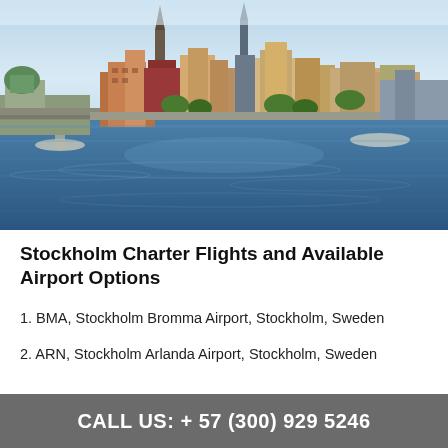[Figure (photo): Aerial view of Stockholm city waterfront with historic buildings, churches, and blue water in the foreground]
Stockholm Charter Flights and Available Airport Options
1. BMA, Stockholm Bromma Airport, Stockholm, Sweden
2. ARN, Stockholm Arlanda Airport, Stockholm, Sweden
CALL US: + 57 (300) 929  5246